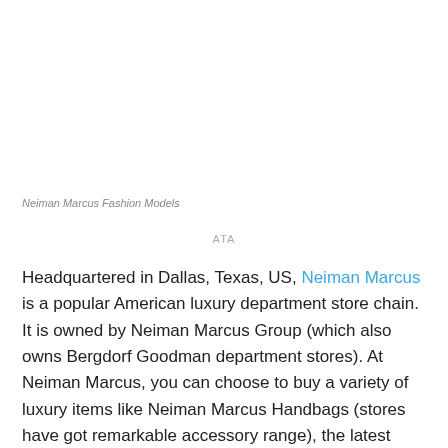Neiman Marcus Fashion Models
ATA
Headquartered in Dallas, Texas, US, Neiman Marcus is a popular American luxury department store chain. It is owned by Neiman Marcus Group (which also owns Bergdorf Goodman department stores). At Neiman Marcus, you can choose to buy a variety of luxury items like Neiman Marcus Handbags (stores have got remarkable accessory range), the latest women's clothing, designer shoes, jewelry, luxury